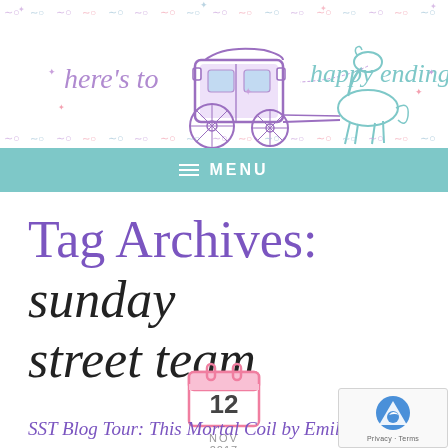[Figure (illustration): Blog header banner with decorative scroll borders top and bottom, featuring a hand-drawn style carriage pulled by a horse, with cursive text 'here's to happy endings' in pastel purple and teal colors]
≡ MENU
Tag Archives: sunday street team
[Figure (illustration): Pink calendar icon showing date 12, with NOV 2017 below]
SST Blog Tour: This Mortal Coil by Emily...